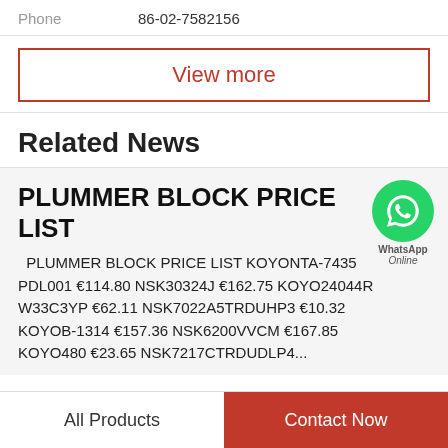Phone  86-02-7582156
View more
Related News
PLUMMER BLOCK PRICE LIST
PLUMMER BLOCK PRICE LIST KOYONTA-7435 PDL001 €114.80 NSK30324J €162.75 KOYO24044R W33C3YP €62.11 NSK7022A5TRDUHP3 €10.32 KOYOB-1314 €157.36 NSK6200VVCM €167.85 KOYO480 €23.65 NSK7217CTRDUDLP4...
[Figure (other): WhatsApp Online button/bubble]
All Products
Contact Now